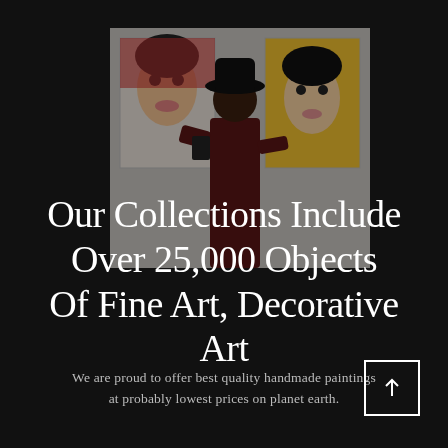[Figure (photo): A person wearing a black hat and dark clothing photographing artwork in a gallery. Two colorful pop-art style portrait paintings are visible on the white gallery wall behind them.]
Our Collections Include Over 25,000 Objects Of Fine Art, Decorative Art
We are proud to offer best quality handmade paintings at probably lowest prices on planet earth.